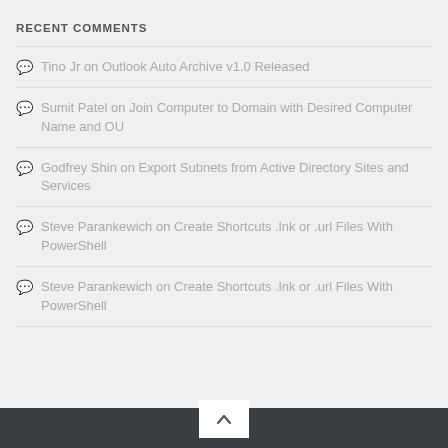RECENT COMMENTS
Tino Jr on Outlook Auto Archive v1.0 Released
Sumit Patel on Join Computer to Domain with Desired Computer Name and OU
Godfrey Shin on Export Subnets from Active Directory Sites and Services
Steve Parankewich on Create Shortcuts .lnk or .url Files With PowerShell
Steve Parankewich on Create Shortcuts .lnk or .url Files With PowerShell
Back to top